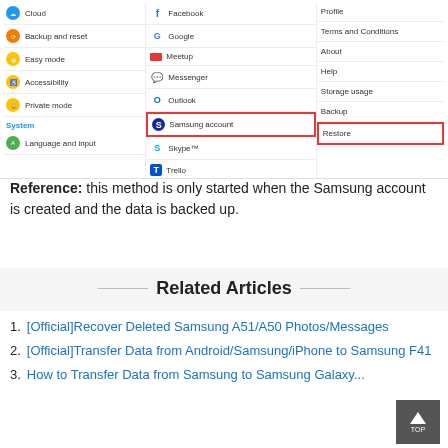[Figure (screenshot): Android settings screenshot showing three columns: left column with Cloud, Backup and reset, Easy mode, Accessibility, Private mode, System, Language and input; middle column with Facebook (cut off at top), Google, Meetup, Messenger, Outlook, Samsung account (highlighted with red box), Skype, Trello; right column with Profile, Terms and Conditions, About, Help, Storage usage, Backup, Restore (highlighted with red box)]
Reference: this method is only started when the Samsung account is created and the data is backed up.
Related Articles
[Official]Recover Deleted Samsung A51/A50 Photos/Messages
[Official]Transfer Data from Android/Samsung/iPhone to Samsung F41
How to Transfer Data from Samsung to Samsung Galaxy...